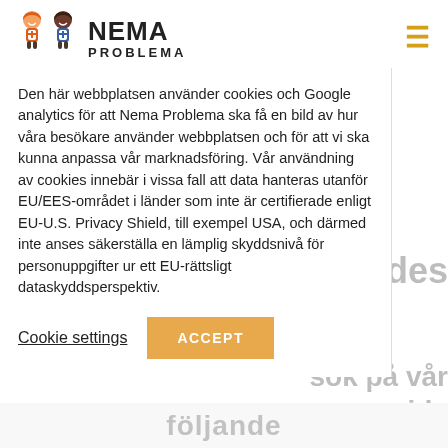[Figure (logo): Nema Problema logo with two cartoon child figures and bold text NEMA PROBLEMA]
Den här webbplatsen använder cookies och Google analytics för att Nema Problema ska få en bild av hur våra besökare använder webbplatsen och för att vi ska kunna anpassa vår marknadsföring. Vår användning av cookies innebär i vissa fall att data hanteras utanför EU/EES-området i länder som inte är certifierade enligt EU-U.S. Privacy Shield, till exempel USA, och därmed inte anses säkerställa en lämplig skyddsnivå för personuppgifter ur ett EU-rättsligt dataskyddsperspektiv.
Cookie settings
ACCEPT